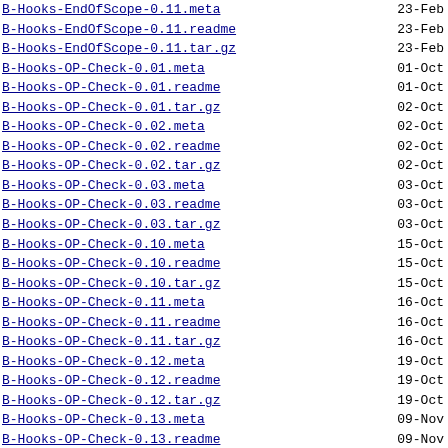B-Hooks-EndOfScope-0.11.meta  23-Feb
B-Hooks-EndOfScope-0.11.readme  23-Feb
B-Hooks-EndOfScope-0.11.tar.gz  23-Feb
B-Hooks-OP-Check-0.01.meta  01-Oct
B-Hooks-OP-Check-0.01.readme  01-Oct
B-Hooks-OP-Check-0.01.tar.gz  02-Oct
B-Hooks-OP-Check-0.02.meta  02-Oct
B-Hooks-OP-Check-0.02.readme  02-Oct
B-Hooks-OP-Check-0.02.tar.gz  02-Oct
B-Hooks-OP-Check-0.03.meta  03-Oct
B-Hooks-OP-Check-0.03.readme  03-Oct
B-Hooks-OP-Check-0.03.tar.gz  03-Oct
B-Hooks-OP-Check-0.10.meta  15-Oct
B-Hooks-OP-Check-0.10.readme  15-Oct
B-Hooks-OP-Check-0.10.tar.gz  15-Oct
B-Hooks-OP-Check-0.11.meta  16-Oct
B-Hooks-OP-Check-0.11.readme  16-Oct
B-Hooks-OP-Check-0.11.tar.gz  16-Oct
B-Hooks-OP-Check-0.12.meta  19-Oct
B-Hooks-OP-Check-0.12.readme  19-Oct
B-Hooks-OP-Check-0.12.tar.gz  19-Oct
B-Hooks-OP-Check-0.13.meta  09-Nov
B-Hooks-OP-Check-0.13.readme  09-Nov
B-Hooks-OP-Check-0.13.tar.gz  09-Nov
B-Hooks-OP-Check-0.14.meta  09-Nov
B-Hooks-OP-Check-0.14.readme  09-Nov
B-Hooks-OP-Check-0.14.tar.gz  09-Nov
B-Hooks-OP-Check-0.15.meta  11-Nov
B-Hooks-OP-Check-0.15.readme  11-Nov
B-Hooks-OP-Check-0.15.tar.gz  11-Nov
B-Hooks-OP-Check-0.16.meta  18-...